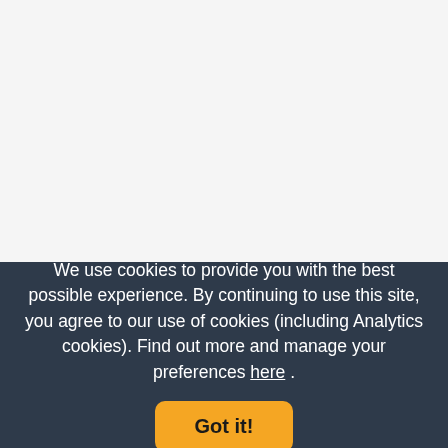We use cookies to provide you with the best possible experience. By continuing to use this site, you agree to our use of cookies (including Analytics cookies). Find out more and manage your preferences here .
Got it!